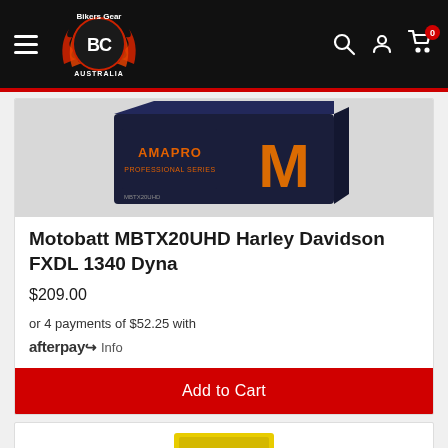Bikers Gear Australia — navigation header with hamburger menu, logo, search, account, and cart icons
[Figure (photo): Motobatt MBTX20UHD battery product photo — dark blue/black battery with orange AMAPRO and M Motobatt branding on two visible sides]
Motobatt MBTX20UHD Harley Davidson FXDL 1340 Dyna
$209.00
or 4 payments of $52.25 with afterpay Info
Add to Cart
[Figure (photo): Partially visible yellow battery product at bottom of page]